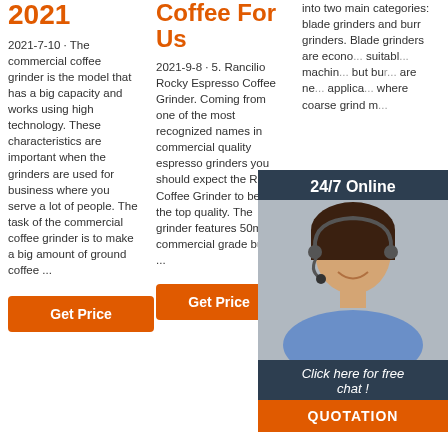2021
2021-7-10 · The commercial coffee grinder is the model that has a big capacity and works using high technology. These characteristics are important when the grinders are used for business where you serve a lot of people. The task of the commercial coffee grinder is to make a big amount of ground coffee ...
Get Price
Coffee For Us
2021-9-8 · 5. Rancilio Rocky Espresso Coffee Grinder. Coming from one of the most recognized names in commercial quality espresso grinders you should expect the Rocky Coffee Grinder to be of the top quality. The grinder features 50mm commercial grade burrs, ...
Get Price
into two main categories: blade grinders and burr grinders. Blade grinders are econo... suitable machin... but bu... are ne... applica... where coarse grind m...
[Figure (photo): Chat popup overlay with agent photo, 24/7 Online label, Click here for free chat text, and QUOTATION button]
Get
[Figure (other): TOP button with orange dots above and orange outlined TOP text with dark O in the center]